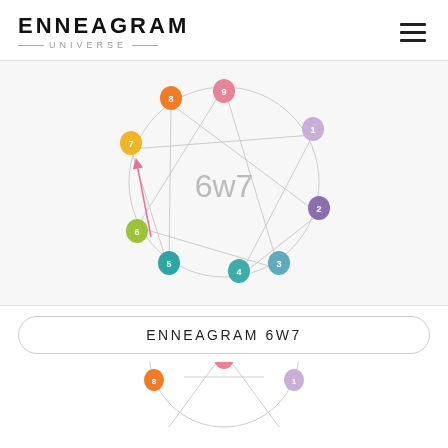ENNEAGRAM UNIVERSE
[Figure (other): Enneagram diagram showing 9 numbered nodes arranged in a circle with internal connecting lines and a star pattern. The center displays '6w7'. Each node is a colored teardrop pin: 9 (pink, top), 1 (lavender, upper right), 2 (purple, right), 3 (teal-blue, lower right), 4 (teal, bottom right), 5 (teal, bottom left), 6 (yellow-green, lower left), 7 (yellow-orange, left), 8 (orange, upper left). There is a pink arrow pointing from type 6 area toward type 7.]
ENNEAGRAM 6W7
[Figure (other): Partial enneagram diagram at bottom of page showing the top portion of a second enneagram with nodes 9 (pink), 8 (orange), and 1 (lavender) visible, with partial circle and internal lines.]